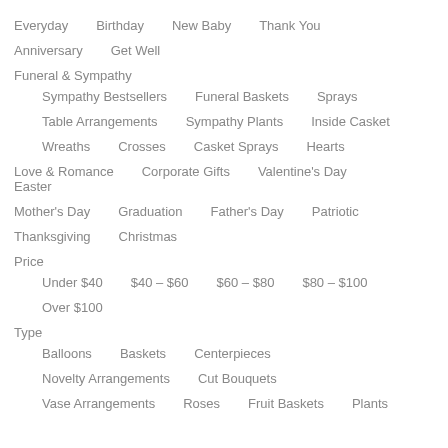Everyday
Birthday
New Baby
Thank You
Anniversary
Get Well
Funeral & Sympathy
Sympathy Bestsellers
Funeral Baskets
Sprays
Table Arrangements
Sympathy Plants
Inside Casket
Wreaths
Crosses
Casket Sprays
Hearts
Love & Romance
Corporate Gifts
Valentine's Day
Easter
Mother's Day
Graduation
Father's Day
Patriotic
Thanksgiving
Christmas
Price
Under $40
$40 – $60
$60 – $80
$80 – $100
Over $100
Type
Balloons
Baskets
Centerpieces
Novelty Arrangements
Cut Bouquets
Vase Arrangements
Roses
Fruit Baskets
Plants